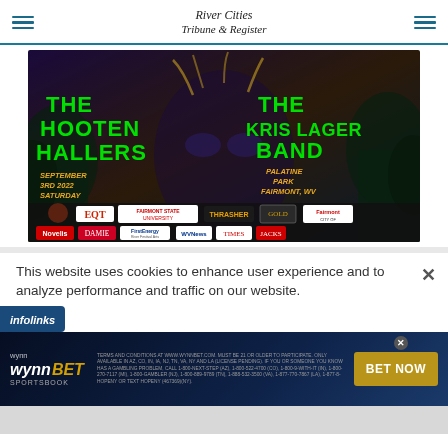River Cities Tribune & Register
[Figure (illustration): Concert event banner for The Hooten Hallers and The Kris Lager Band, September 3rd 2022, Saturday, Palatine Park, Fairmont, WV. Featuring an alien head graphic with green text on dark purple/forest background. Sponsors include EQT, Fairmont State University, Thrasher, Fairmont, Novelis, DAMIE, FirstEnergy, WV News, Times, and others.]
This website uses cookies to enhance user experience and to analyze performance and traffic on our website.
[Figure (logo): Infolinks logo bar - blue bar with 'infolinks' text in white italic]
[Figure (infographic): WynnBET Sportsbook advertisement with terms and conditions text and 'BET NOW' button in gold]